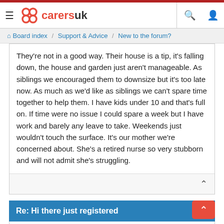carersuk — Board index / Support & Advice / New to the forum?
They're not in a good way. Their house is a tip, it's falling down, the house and garden just aren't manageable. As siblings we encouraged them to downsize but it's too late now. As much as we'd like as siblings we can't spare time together to help them. I have kids under 10 and that's full on. If time were no issue I could spare a week but I have work and barely any leave to take. Weekends just wouldn't touch the surface. It's our mother we're concerned about. She's a retired nurse so very stubborn and will not admit she's struggling.
Re: Hi there just registered
Denis_1610 • Wed Jan 19, 2022 11:44